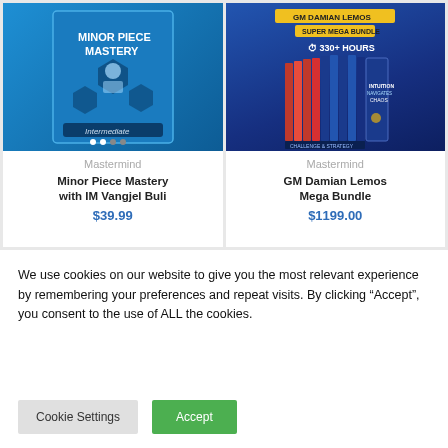[Figure (illustration): Minor Piece Mastery chess course box art - blue box with chess instructor photo and geometric shapes, labeled 'Intermediate']
Mastermind
Minor Piece Mastery with IM Vangjel Buli
$39.99
[Figure (illustration): GM Damian Lemos Super Mega Bundle - stack of book/course volumes on blue background, 330+ Hours label]
Mastermind
GM Damian Lemos Mega Bundle
$1199.00
We use cookies on our website to give you the most relevant experience by remembering your preferences and repeat visits. By clicking “Accept”, you consent to the use of ALL the cookies.